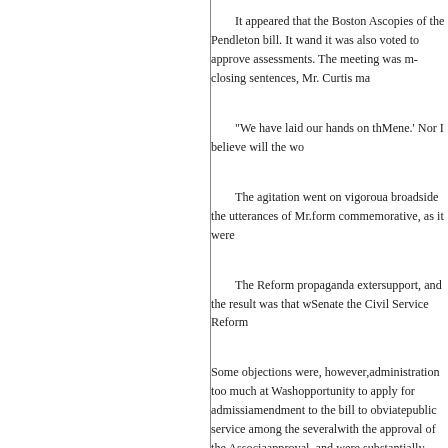It appeared that the Boston As copies of the Pendleton bill. It w and it was also voted to approve assessments. The meeting was m closing sentences, Mr. Curtis ma

"We have laid our hands on th Mene.' Nor I believe will the wo

The agitation went on vigorou a broadside the utterances of Mr. form commemorative, as it were

The Reform propaganda exter support, and the result was that w Senate the Civil Service Reform

Some objections were, however, administration too much at Wash opportunity to apply for admissi amendment to the bill to obviate public service among the several with the approval of the Associa approval, and were substantially details, but the essential features are two fold: